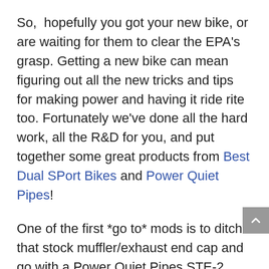So,  hopefully you got your new bike, or are waiting for them to clear the EPA's grasp. Getting a new bike can mean figuring out all the new tricks and tips for making power and having it ride rite too. Fortunately we've done all the hard work, all the R&D for you, and put together some great products from Best Dual SPort Bikes and Power Quiet Pipes!
One of the first *go to* mods is to ditch that stock muffler/exhaust end cap and go with a Power Quiet Pipes STE-2 End cap This provides a FULL 6-7 horsepower increase over the stock EXC end cap and...